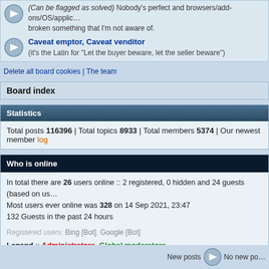(Can be flagged as solved) Nobody's perfect and browsers/add-ons/OS/applications may have broken something that I'm not aware of.
Caveat emptor, Caveat venditor
(it's the Latin for "Let the buyer beware, let the seller beware")
Delete all board cookies | The team
Board index
Statistics
Total posts 116396 | Total topics 8933 | Total members 5374 | Our newest member log
Who is online
In total there are 26 users online :: 2 registered, 0 hidden and 24 guests (based on us
Most users ever online was 328 on 14 Sep 2021, 23:47
132 Guests in the past 24 hours
Registered users: Bing [Bot], Google [Bot]
Legend :: Administrators, Global moderators
New posts    No new po